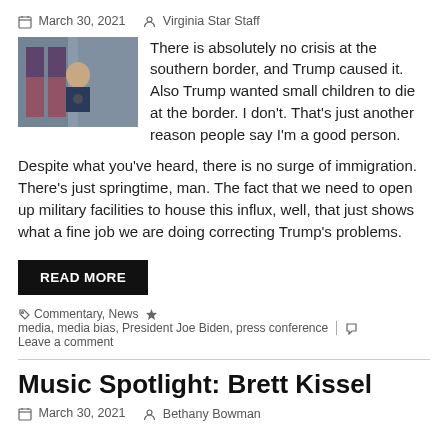March 30, 2021  Virginia Star Staff
There is absolutely no crisis at the southern border, and Trump caused it. Also Trump wanted small children to die at the border. I don't. That's just another reason people say I'm a good person.

Despite what you've heard, there is no surge of immigration. There's just springtime, man. The fact that we need to open up military facilities to house this influx, well, that just shows what a fine job we are doing correcting Trump's problems.
READ MORE
Commentary, News  media, media bias, President Joe Biden, press conference  Leave a comment
Music Spotlight: Brett Kissel
March 30, 2021  Bethany Bowman